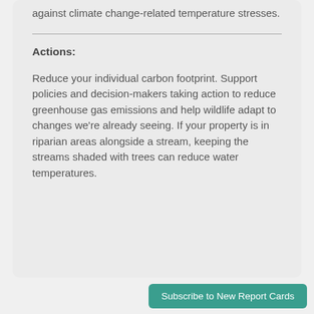against climate change-related temperature stresses.
Actions:
Reduce your individual carbon footprint. Support policies and decision-makers taking action to reduce greenhouse gas emissions and help wildlife adapt to changes we're already seeing. If your property is in riparian areas alongside a stream, keeping the streams shaded with trees can reduce water temperatures.
Subscribe to New Report Cards